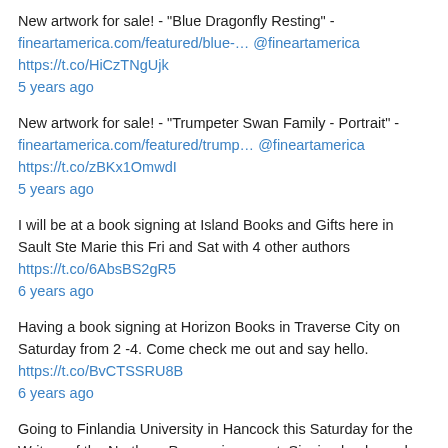New artwork for sale! - "Blue Dragonfly Resting" - fineartamerica.com/featured/blue-… @fineartamerica https://t.co/HiCzTNgUjk 5 years ago
New artwork for sale! - "Trumpeter Swan Family - Portrait" - fineartamerica.com/featured/trump… @fineartamerica https://t.co/zBKx1OmwdI 5 years ago
I will be at a book signing at Island Books and Gifts here in Sault Ste Marie this Fri and Sat with 4 other authors https://t.co/6AbsBS2gR5 6 years ago
Having a book signing at Horizon Books in Traverse City on Saturday from 2 -4. Come check me out and say hello. https://t.co/BvCTSSRU8B 6 years ago
Going to Finlandia University in Hancock this Saturday for the Writers of the Northern Persuasion event. Signing books and doing a reading. 6 years ago